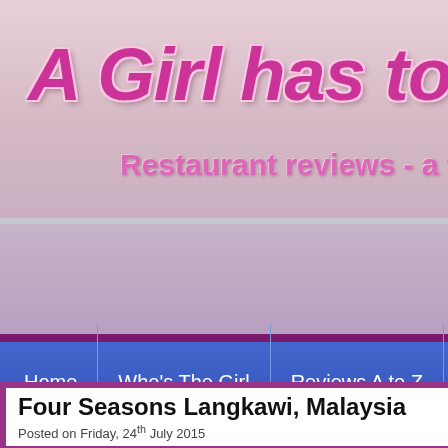A Girl has to E
Restaurant reviews - a fo
[Figure (screenshot): Navigation bar with links: Home, Who's The Girl, Reviews A to Z, Hot]
Four Seasons Langkawi, Malaysia
Posted on Friday, 24th July 2015
« Previous post
FOUR SEASONS HOTEL LANGKAWI